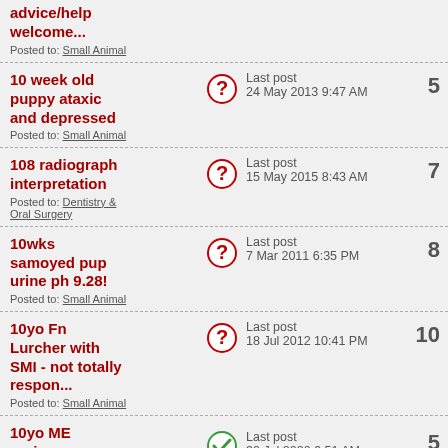advice/help welcome...
Posted to: Small Animal | Last post 24 May 2013 9:47 AM | 5
10 week old puppy ataxic and depressed
Posted to: Small Animal | Last post 24 May 2013 9:47 AM | 5
108 radiograph interpretation
Posted to: Dentistry & Oral Surgery | Last post 15 May 2015 8:43 AM | 7
10wks samoyed pup urine ph 9.28!
Posted to: Small Animal | Last post 7 Mar 2011 6:35 PM | 8
10yo Fn Lurcher with SMI - not totally respon...
Posted to: Small Animal | Last post 18 Jul 2012 10:41 PM | 10
10yo ME springer spaniel with GI signs, now
Posted to: | Last post 30 Jul 2020 6:51 AM | 5